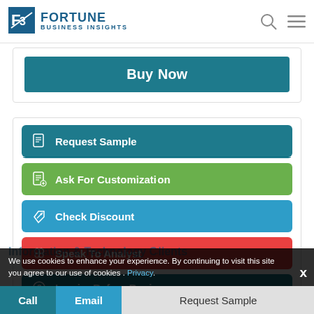[Figure (logo): Fortune Business Insights logo with stylized F/B icon and text]
Buy Now
Request Sample
Ask For Customization
Check Discount
Speak To Analyst
Inquire Before Buying
We use cookies to enhance your experience. By continuing to visit this site you agree to our use of cookies . Privacy.
Information & Technology Clients
Call
Email
Request Sample